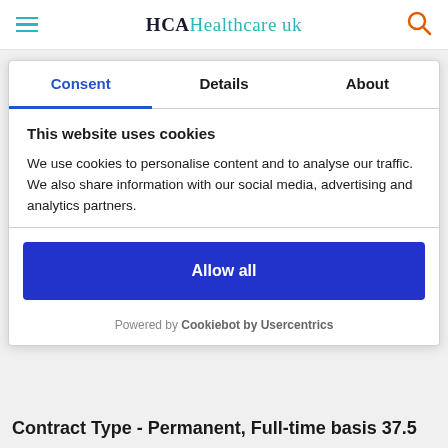HCA Healthcare uk
Consent | Details | About
This website uses cookies
We use cookies to personalise content and to analyse our traffic. We also share information with our social media, advertising and analytics partners.
Allow all
Powered by Cookiebot by Usercentrics
Contract Type - Permanent, Full-time basis 37.5